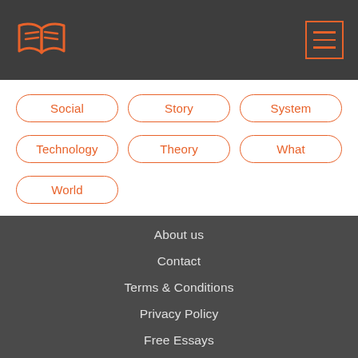Logo and navigation header
Social
Story
System
Technology
Theory
What
World
About us
Contact
Terms & Conditions
Privacy Policy
Free Essays